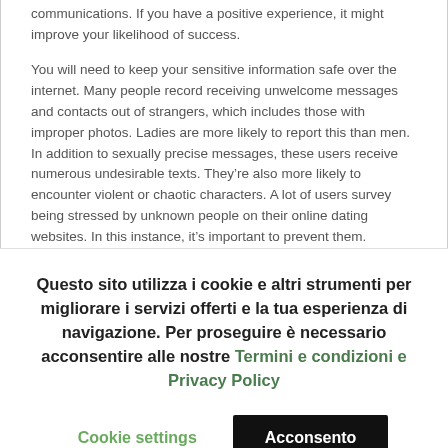communications. If you have a positive experience, it might improve your likelihood of success.
You will need to keep your sensitive information safe over the internet. Many people record receiving unwelcome messages and contacts out of strangers, which includes those with improper photos. Ladies are more likely to report this than men. In addition to sexually precise messages, these users receive numerous undesirable texts. They're also more likely to encounter violent or chaotic characters. A lot of users survey being stressed by unknown people on their online dating websites. In this instance, it's important to prevent them.
Questo sito utilizza i cookie e altri strumenti per migliorare i servizi offerti e la tua esperienza di navigazione. Per proseguire è necessario acconsentire alle nostre Termini e condizioni e Privacy Policy
Cookie settings
Acconsento